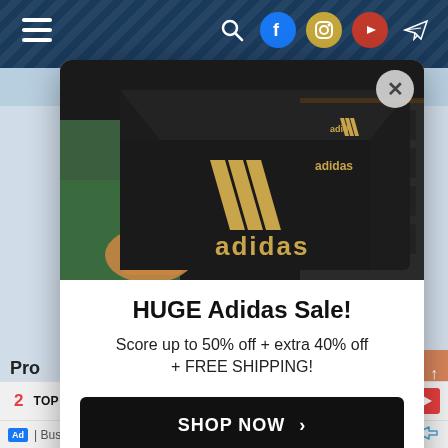[Figure (screenshot): Website navigation bar with hamburger menu icon on left and social media icons (search, Facebook, Instagram, YouTube, Telegram) on right, dark navy blue background with diagonal stripe pattern]
[Figure (photo): Adidas shoe boxes - black boxes with white Adidas logo and text, one held by a hand, others stacked on shelf in background with green outdoor area visible]
HUGE Adidas Sale!
Score up to 50% off + extra 40% off + FREE SHIPPING!
SHOP NOW >
Pro
Pet ir
. It
2  TOP 10 PET INSURANCE FOR DOGS
Ad | Business Focus